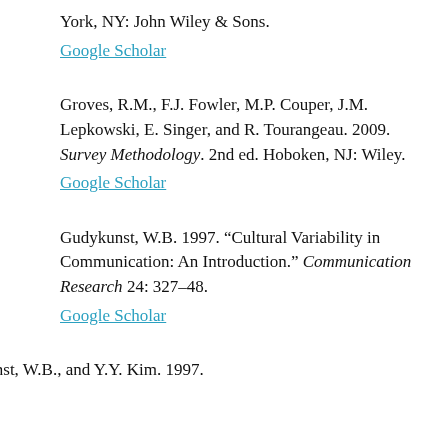York, NY: John Wiley & Sons.
Google Scholar
Groves, R.M., F.J. Fowler, M.P. Couper, J.M. Lepkowski, E. Singer, and R. Tourangeau. 2009. Survey Methodology. 2nd ed. Hoboken, NJ: Wiley.
Google Scholar
Gudykunst, W.B. 1997. “Cultural Variability in Communication: An Introduction.” Communication Research 24: 327–48.
Google Scholar
Gudykunst, W.B., and Y.Y. Kim. 1997.